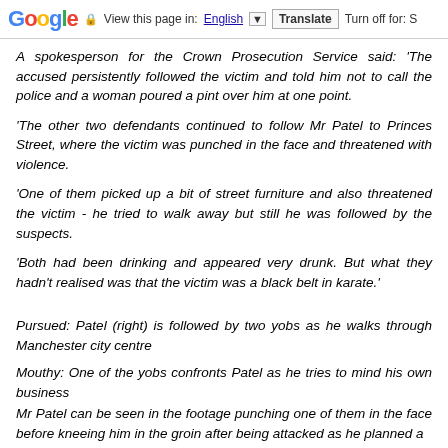Google  View this page in: English [▼]  Translate  Turn off for: S
A spokesperson for the Crown Prosecution Service said: 'The accused persistently followed the victim and told him not to call the police and a woman poured a pint over him at one point.
'The other two defendants continued to follow Mr Patel to Princes Street, where the victim was punched in the face and threatened with violence.
'One of them picked up a bit of street furniture and also threatened the victim - he tried to walk away but still he was followed by the suspects.
'Both had been drinking and appeared very drunk. But what they hadn't realised was that the victim was a black belt in karate.'
Pursued: Patel (right) is followed by two yobs as he walks through Manchester city centre
Mouthy: One of the yobs confronts Patel as he tries to mind his own business
Mr Patel can be seen in the footage punching one of them in the face before kneeing him in the groin after being attacked as he planned a